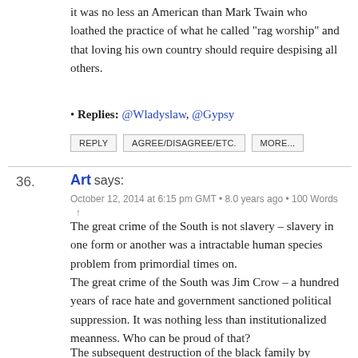It was no less an American than Mark Twain who loathed the practice of what he called “rag worship” and that loving his own country should require despising all others.
Replies: @Wladyslaw, @Gypsy
REPLY   AGREE/DISAGREE/ETC.   MORE...
36. Art says:
October 12, 2014 at 6:15 pm GMT • 8.0 years ago • 100 Words ↑
The great crime of the South is not slavery – slavery in one form or another was a intractable human species problem from primordial times on.
The great crime of the South was Jim Crow – a hundred years of race hate and government sanctioned political suppression. It was nothing less than institutionalized meanness. Who can be proud of that?
The subsequent destruction of the black family by northern liberals is another political crime against the black peoples.